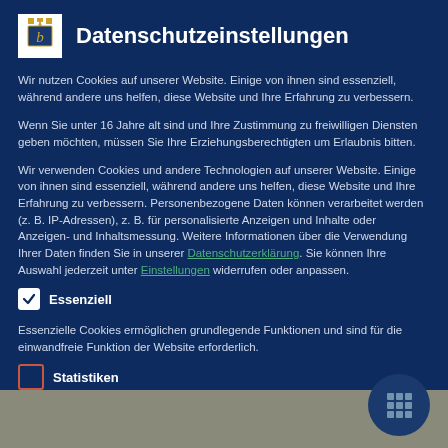Datenschutzeinstellungen
Wir nutzen Cookies auf unserer Website. Einige von ihnen sind essenziell, während andere uns helfen, diese Website und Ihre Erfahrung zu verbessern.
Wenn Sie unter 16 Jahre alt sind und Ihre Zustimmung zu freiwilligen Diensten geben möchten, müssen Sie Ihre Erziehungsberechtigten um Erlaubnis bitten.
Wir verwenden Cookies und andere Technologien auf unserer Website. Einige von ihnen sind essenziell, während andere uns helfen, diese Website und Ihre Erfahrung zu verbessern. Personenbezogene Daten können verarbeitet werden (z. B. IP-Adressen), z. B. für personalisierte Anzeigen und Inhalte oder Anzeigen- und Inhaltsmessung. Weitere Informationen über die Verwendung Ihrer Daten finden Sie in unserer Datenschutzerklärung. Sie können Ihre Auswahl jederzeit unter Einstellungen widerrufen oder anpassen.
Essenziell
Essenzielle Cookies ermöglichen grundlegende Funktionen und sind für die einwandfreie Funktion der Website erforderlich.
Statistiken